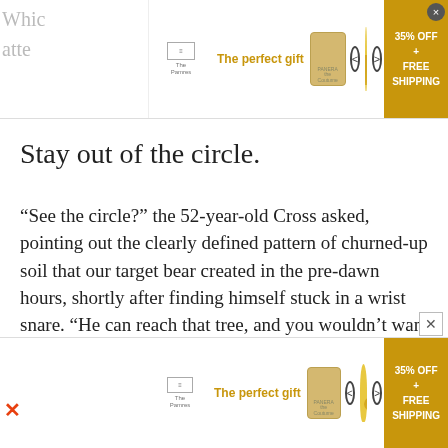[Figure (screenshot): Top advertisement banner for 'The perfect gift' showing a product bowl, navigation arrows, and a gold offer box reading '35% OFF + FREE SHIPPING']
Stay out of the circle.
“See the circle?” the 52-year-old Cross asked, pointing out the clearly defined pattern of churned-up soil that our target bear created in the pre-dawn hours, shortly after finding himself stuck in a wrist snare. “He can reach that tree, and you wouldn’t want that to be you.”
[Figure (screenshot): Bottom advertisement banner for 'The perfect gift' showing similar product and '35% OFF + FREE SHIPPING' offer box]